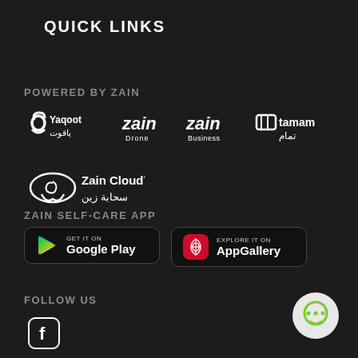QUICK LINKS
POWERED BY ZAIN
[Figure (logo): Yaqoot logo with Arabic text and symbol]
[Figure (logo): Zain Drone logo]
[Figure (logo): Zain Business logo]
[Figure (logo): Tamam logo with Arabic text]
[Figure (logo): Zain Cloud / سحابة زين logo]
ZAIN SELF-CARE APP
[Figure (other): GET IT ON Google Play button]
[Figure (other): EXPLORE IT ON AppGallery button]
FOLLOW US
[Figure (other): Facebook icon]
[Figure (other): Green chat bubble icon]